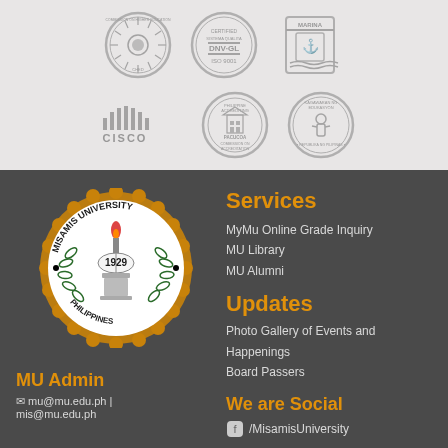[Figure (logo): Row of institutional logos: CHED, DNV-GL ISO 9001, MARINA, CISCO, PACUCOA accreditation, Kagawaran ng Edukasyon Philippines]
[Figure (logo): Misamis University seal - circular gold emblem with torch, open book dated 1929, laurel leaves, Philippines text]
Services
MyMu Online Grade Inquiry
MU Library
MU Alumni
Updates
Photo Gallery of Events and Happenings
Board Passers
MU Admin
✉ mu@mu.edu.ph | mis@mu.edu.ph
We are Social
/MisamisUniversity